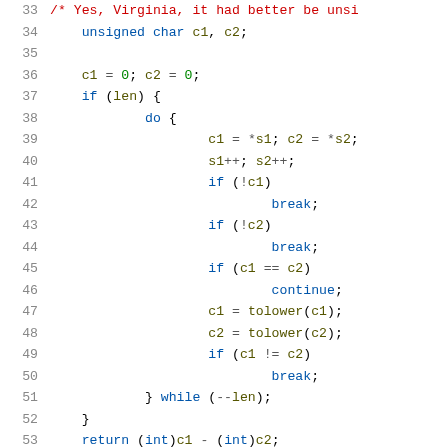Source code snippet (C), lines 33-54, showing a case-insensitive string comparison loop